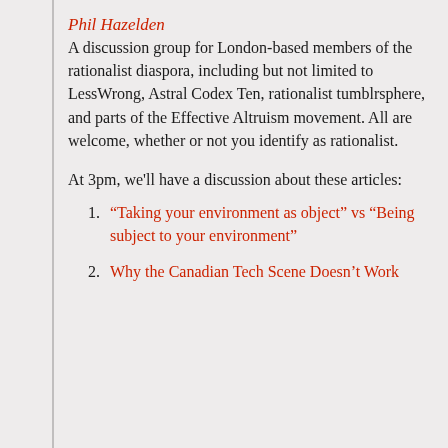Phil Hazelden
A discussion group for London-based members of the rationalist diaspora, including but not limited to LessWrong, Astral Codex Ten, rationalist tumblrsphere, and parts of the Effective Altruism movement. All are welcome, whether or not you identify as rationalist.
At 3pm, we’ll have a discussion about these articles:
“Taking your environment as object” vs “Being subject to your environment”
Why the Canadian Tech Scene Doesn’t Work